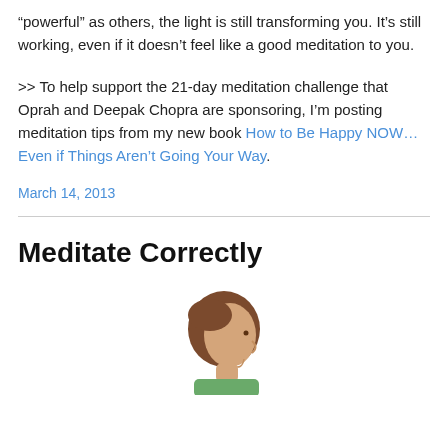"powerful" as others, the light is still transforming you. It's still working, even if it doesn't feel like a good meditation to you.
>> To help support the 21-day meditation challenge that Oprah and Deepak Chopra are sponsoring, I'm posting meditation tips from my new book How to Be Happy NOW...Even if Things Aren't Going Your Way.
March 14, 2013
Meditate Correctly
[Figure (illustration): Illustration of a person's head in profile view, showing brown hair, side-facing, with a green garment visible at the bottom, cropped at the bottom of the page.]